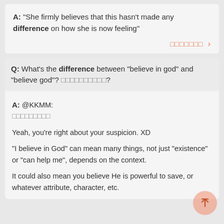A: "She firmly believes that this hasn't made any difference on how she is now feeling"
xxxxxxx >
Q: What's the difference between "believe in god" and "believe god"? xxxxxxxxxx?
A: @KKMM:
xxxxxxxxx

Yeah, you're right about your suspicion. XD

"I believe in God" can mean many things, not just "existence" or "can help me", depends on the context.

It could also mean you believe He is powerful to save, or whatever attribute, character, etc.